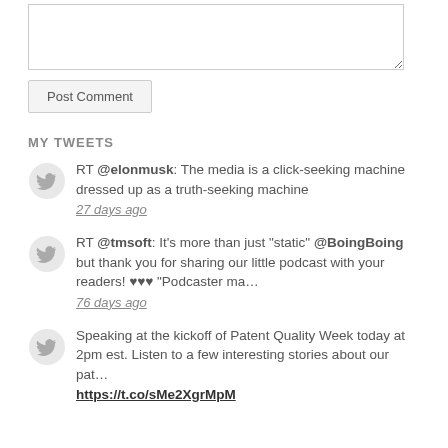[Figure (other): Text input textarea box for comment entry]
Post Comment
MY TWEETS
RT @elonmusk: The media is a click-seeking machine dressed up as a truth-seeking machine
27 days ago
RT @tmsoft: It's more than just "static" @BoingBoing but thank you for sharing our little podcast with your readers! ♥♥♥ "Podcaster ma…
76 days ago
Speaking at the kickoff of Patent Quality Week today at 2pm est. Listen to a few interesting stories about our pat…
https://t.co/sMe2XgrMpM